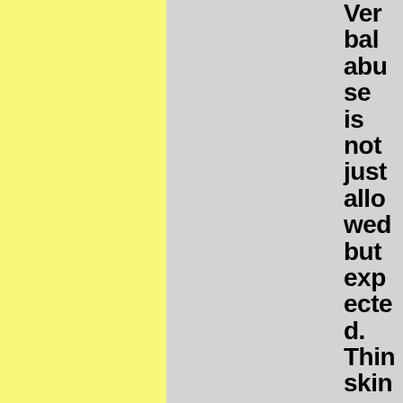Verbal abuse is not just allowed but expected. Thin skins can gtfo. Now get thos